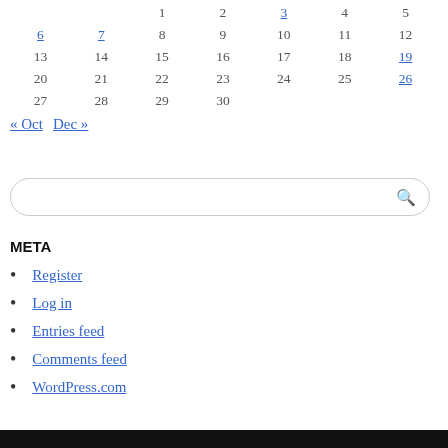|  |  | 1 | 2 | 3 | 4 | 5 |
| 6 | 7 | 8 | 9 | 10 | 11 | 12 |
| 13 | 14 | 15 | 16 | 17 | 18 | 19 |
| 20 | 21 | 22 | 23 | 24 | 25 | 26 |
| 27 | 28 | 29 | 30 |  |  |  |
« Oct   Dec »
[search box]
META
Register
Log in
Entries feed
Comments feed
WordPress.com